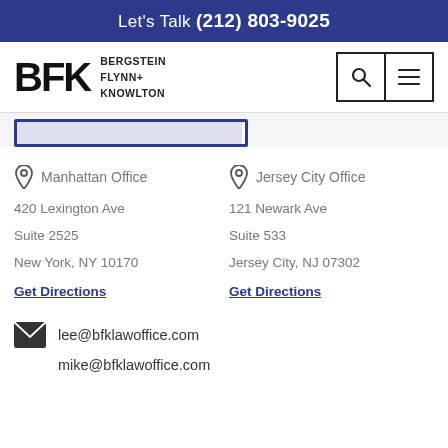Let's Talk (212) 803-9025
[Figure (logo): BFK Bergstein Flynn + Knowlton law firm logo with search and menu icons]
Manhattan Office
420 Lexington Ave
Suite 2525
New York, NY 10170
Get Directions
Jersey City Office
121 Newark Ave
Suite 533
Jersey City, NJ 07302
Get Directions
lee@bfklawoffice.com
mike@bfklawoffice.com